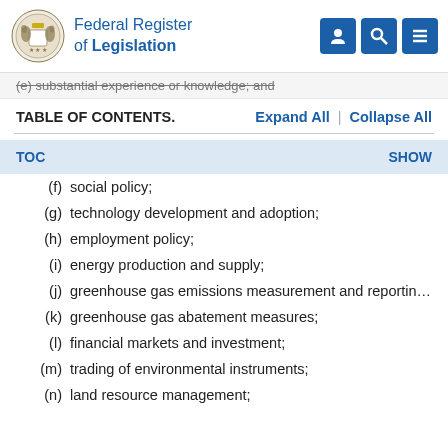Federal Register of Legislation
(e) substantial experience or knowledge; and
TABLE OF CONTENTS.
(f) social policy;
(g) technology development and adoption;
(h) employment policy;
(i) energy production and supply;
(j) greenhouse gas emissions measurement and reporting;
(k) greenhouse gas abatement measures;
(l) financial markets and investment;
(m) trading of environmental instruments;
(n) land resource management;